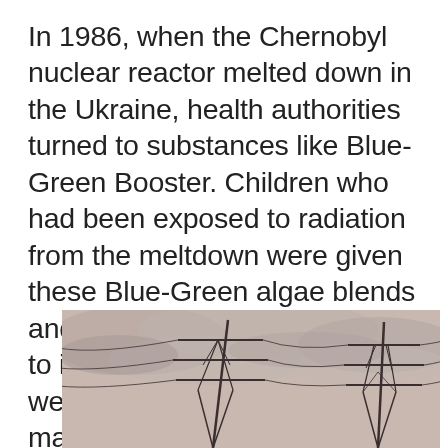In 1986, when the Chernobyl nuclear reactor melted down in the Ukraine, health authorities turned to substances like Blue-Green Booster. Children who had been exposed to radiation from the meltdown were given these Blue-Green algae blends and their health markers seem to improved markedly within weeks. One reason why that maybe true is in this study.
[Figure (photo): Sepia-toned photograph of electrical transmission towers with power lines against an overcast sky]